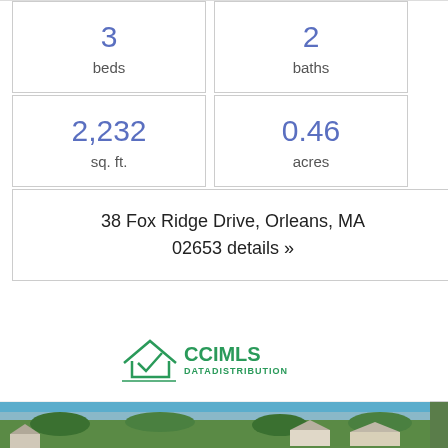3 beds
2 baths
2,232 sq. ft.
0.46 acres
38 Fox Ridge Drive, Orleans, MA 02653 details »
[Figure (logo): CCIMLS Data Distribution logo with house icon]
[Figure (photo): Aerial photo of residential neighborhood with trees, water, and ocean in background]